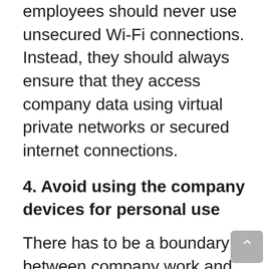employees should never use unsecured Wi-Fi connections. Instead, they should always ensure that they access company data using virtual private networks or secured internet connections.
4. Avoid using the company devices for personal use
There has to be a boundary between company work and personal work. When remote employees make use of company devices for personal use, they expose the company at an increased risk for cyber attacks. As such, remote employees should